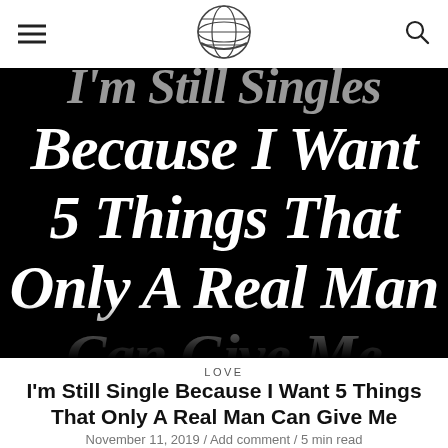Navigation header with hamburger menu, globe logo, and search icon
[Figure (illustration): Black background hero image with large italic white script text reading "I'm Still Single Because I Want 5 Things That Only A Real Man Can Give Me" - partially visible, bottom lines cropped]
LOVE
I'm Still Single Because I Want 5 Things That Only A Real Man Can Give Me
November 11, 2019 / Add comment / 5 min read